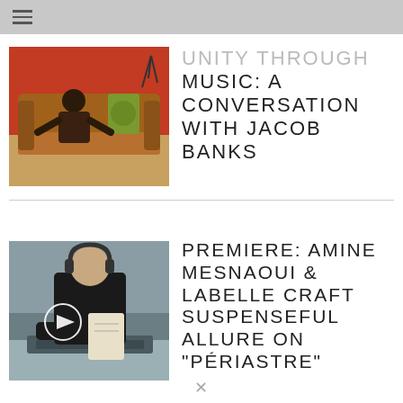☰
UNITY THROUGH MUSIC: A CONVERSATION WITH JACOB BANKS
[Figure (photo): A man sitting on a brown leather sofa against a red wall, with a decorative pillow visible. Indoor setting.]
PREMIERE: AMINE MESNAOUI & LABELLE CRAFT SUSPENSEFUL ALLURE ON "PÉRIASTRE"
[Figure (photo): A person wearing headphones and a black t-shirt, playing an instrument or keyboard, with a play button overlay indicating a video.]